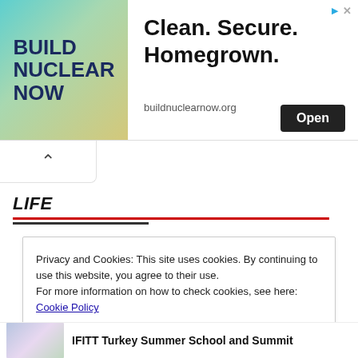[Figure (other): Advertisement banner for Build Nuclear Now. Left side has teal/green gradient background with bold dark blue text 'BUILD NUCLEAR NOW'. Right side shows text 'Clean. Secure. Homegrown.' with 'buildnuclearnow.org' URL and an 'Open' button. Ad icons (triangle and X) in top right corner.]
[Figure (other): Small white box with upward-pointing caret/chevron arrow, indicating scroll up or collapse action.]
LIFE
Privacy and Cookies: This site uses cookies. By continuing to use this website, you agree to their use.
For more information on how to check cookies, see here: Cookie Policy
OK
IFITT Turkey Summer School and Summit